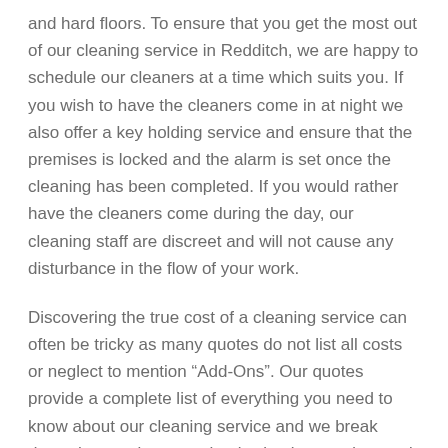and hard floors. To ensure that you get the most out of our cleaning service in Redditch, we are happy to schedule our cleaners at a time which suits you. If you wish to have the cleaners come in at night we also offer a key holding service and ensure that the premises is locked and the alarm is set once the cleaning has been completed. If you would rather have the cleaners come during the day, our cleaning staff are discreet and will not cause any disturbance in the flow of your work.
Discovering the true cost of a cleaning service can often be tricky as many quotes do not list all costs or neglect to mention “Add-Ons”. Our quotes provide a complete list of everything you need to know about our cleaning service and we break down the cost in a way that is simple to understand. This clarity is very important to us and to our clients as nobody likes surprises! After requesting a quote we will get back to you within 2 business days unless it has been mutually agreed.
Finding a cleaning company in Redditch will be our finding...